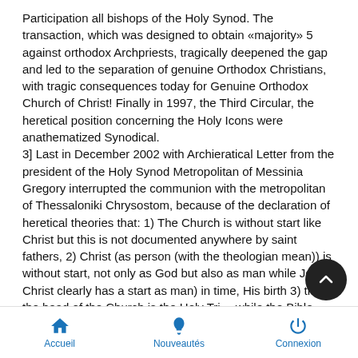Participation all bishops of the Holy Synod. The transaction, which was designed to obtain «majority» 5 against orthodox Archpriests, tragically deepened the gap and led to the separation of genuine Orthodox Christians, with tragic consequences today for Genuine Orthodox Church of Christ! Finally in 1997, the Third Circular, the heretical position concerning the Holy Icons were anathematized Synodical. 3] Last in December 2002 with Archieratical Letter from the president of the Holy Synod Metropolitan of Messinia Gregory interrupted the communion with the metropolitan of Thessaloniki Chrysostom, because of the declaration of heretical theories that: 1) The Church is without start like Christ but this is not documented anywhere by saint fathers, 2) Christ (as person (with the theologian mean)) is without start, not only as God but also as man while Jesus Christ clearly has a start as man) in time, His birth 3) that the head of the Church is the Holy Tri… while the Bible clearly preaches in the letters of Apostle Pau… only Christ, as God-human is the head of the Church!
Accueil   Nouveautés   Connexion